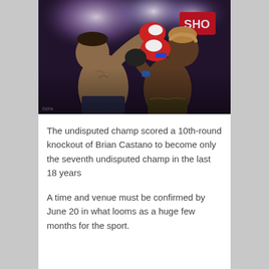[Figure (photo): Two boxers exchanging punches in a professional boxing match. One fighter on the left is shirtless and being hit, the other on the right has light brown hair and is wearing red and white gloves. A 'SHO' (Showtime) logo is visible in the background. Arena lights glow above them.]
The undisputed champ scored a 10th-round knockout of Brian Castano to become only the seventh undisputed champ in the last 18 years
A time and venue must be confirmed by June 20 in what looms as a huge few months for the sport.